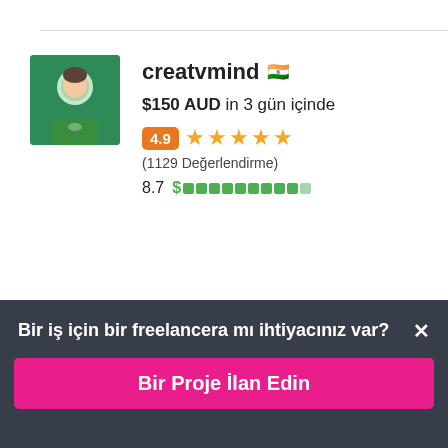creatvmind 🇮🇳
$150 AUD in 3 gün içinde
4.9 ★★★★★ (1129 Değerlendirme)
8.7 $ ██████████
A2Design 🇨🇦
Bir iş için bir freelancera mı ihtiyacınız var? ×
Bir Proje İlan Edin